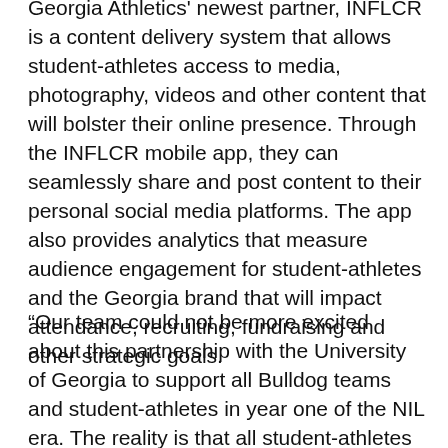Georgia Athletics' newest partner, INFLCR is a content delivery system that allows student-athletes access to media, photography, videos and other content that will bolster their online presence. Through the INFLCR mobile app, they can seamlessly share and post content to their personal social media platforms. The app also provides analytics that measure audience engagement for student-athletes and the Georgia brand that will impact attendance, recruiting, fundraising and other strategic goals.
“Our team could not be more excited about this partnership with the University of Georgia to support all Bulldog teams and student-athletes in year one of the NIL era. The reality is that all student-athletes want to figure out how to monetize their name, image and likeness. It starts first with their ability to build a strong brand,” founder and CEO of INFLCR Jim Cavale said. “There are few traditions as rich as being a Georgia